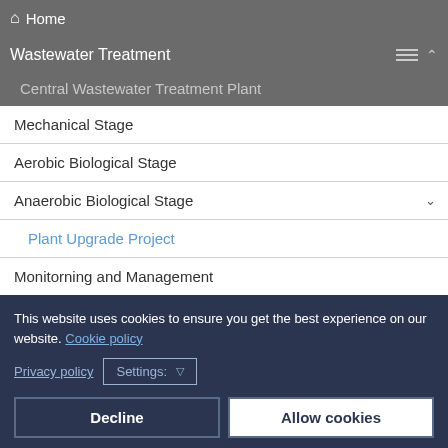Home
Wastewater Treatment
Central Wastewater Treatment Plant
Mechanical Stage
Aerobic Biological Stage
Anaerobic Biological Stage
Plant Upgrade Project
Monitorning and Management
Technological Data
Municipal Wastewater Treatment Price List
Seminars and training, consulting, analyses
This website uses cookies to ensure you get the best experience on our website. Cookie policy
Privacy policy   Settings: ▽
Decline   Allow cookies